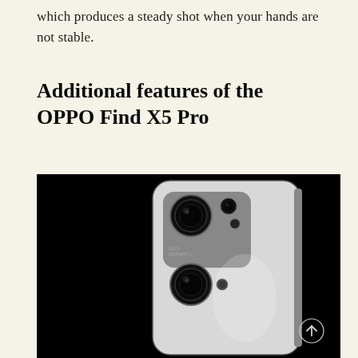which produces a steady shot when your hands are not stable.
Additional features of the OPPO Find X5 Pro
[Figure (photo): Back view of the OPPO Find X5 Pro smartphone showing the camera module with two large lenses and one smaller lens, displayed against a black background.]